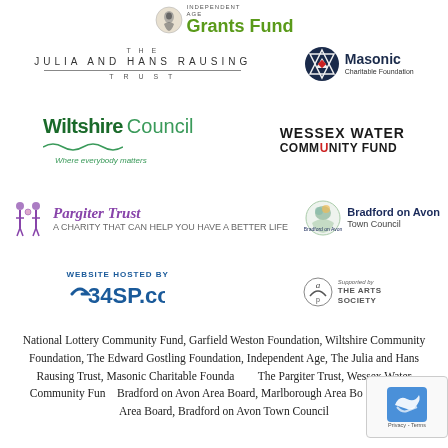[Figure (logo): Independent Age Grants Fund logo with lion head icon and green bold text]
[Figure (logo): The Julia and Hans Rausing Trust logo in spaced serif letters]
[Figure (logo): Masonic Charitable Foundation logo with diamond/compass icon on dark blue circle]
[Figure (logo): Wiltshire Council logo with green text and wave, tagline 'Where everybody matters']
[Figure (logo): Wessex Water Community Fund logo in bold uppercase black text]
[Figure (logo): Pargiter Trust logo with purple italic text and figure icon]
[Figure (logo): Bradford on Avon Town Council logo with circular emblem]
[Figure (logo): 34SP.com website hosting logo in blue with 'WEBSITE HOSTED BY' tagline]
[Figure (logo): Supported by The Arts Society logo with stylized AP monogram]
National Lottery Community Fund, Garfield Weston Foundation, Wiltshire Community Foundation, The Edward Gostling Foundation, Independent Age, The Julia and Hans Rausing Trust, Masonic Charitable Foundation, The Pargiter Trust, Wessex Water Community Fund, Bradford on Avon Area Board, Marlborough Area Board, Pewsey Area Board, Bradford on Avon Town Council